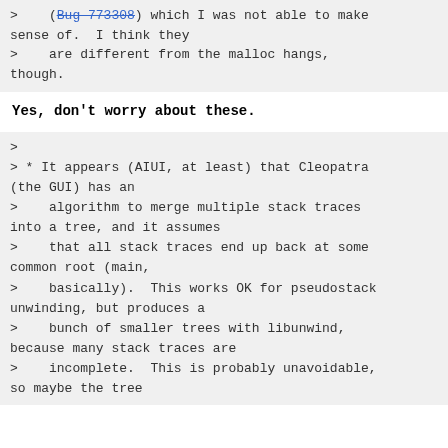> (Bug 773308) which I was not able to make sense of. I think they
>    are different from the malloc hangs, though.
Yes, don't worry about these.
>
> * It appears (AIUI, at least) that Cleopatra (the GUI) has an
>    algorithm to merge multiple stack traces into a tree, and it assumes
>    that all stack traces end up back at some common root (main,
>    basically). This works OK for pseudostack unwinding, but produces a
>    bunch of smaller trees with libunwind, because many stack traces are
>    incomplete. This is probably unavoidable, so maybe the tree